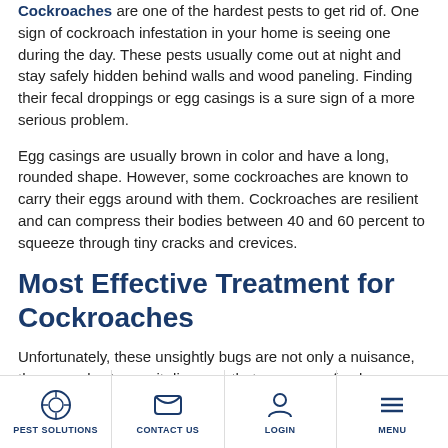Cockroaches are one of the hardest pests to get rid of. One sign of cockroach infestation in your home is seeing one during the day. These pests usually come out at night and stay safely hidden behind walls and wood paneling. Finding their fecal droppings or egg casings is a sure sign of a more serious problem.
Egg casings are usually brown in color and have a long, rounded shape. However, some cockroaches are known to carry their eggs around with them. Cockroaches are resilient and can compress their bodies between 40 and 60 percent to squeeze through tiny cracks and crevices.
Most Effective Treatment for Cockroaches
Unfortunately, these unsightly bugs are not only a nuisance, they can also transmit diseases that can cause food poisoning, allergies or other illness. Once cockroaches become established, they can breed and produce several thousand offspring each year. Cockroaches are
PEST SOLUTIONS | CONTACT US | LOGIN | MENU